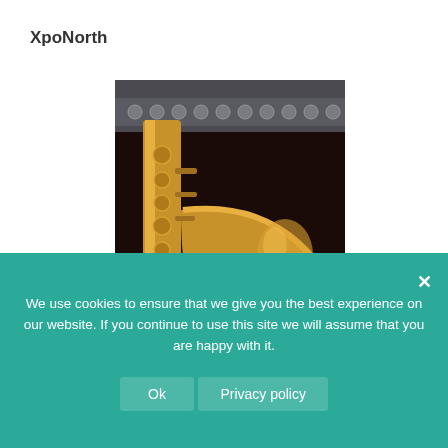XpoNorth
[Figure (photo): Close-up photograph of a golden saxophone and a flute against a dark maroon/black background]
Dunvegan Primary School Clarinet Club
We use cookies to ensure that we give you the best experience on our website. If you continue to use this site we will assume that you are happy with it.
Ok   Privacy policy